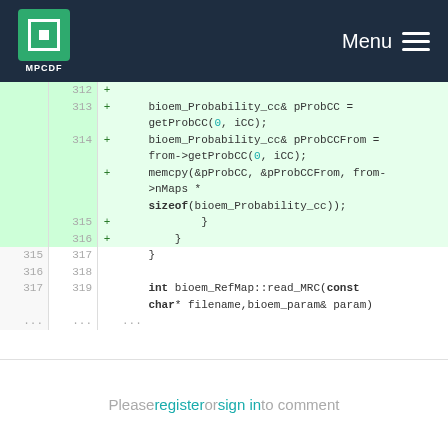MPCDF Menu
[Figure (screenshot): Code diff view showing C++ code lines 312-319 with added lines highlighted in green. Lines 313-316 are new (marked with +). Content includes bioem_Probability_cc& pProbCC = getProbCC(0, iCC); bioem_Probability_cc& pProbCCFrom = from->getProbCC(0, iCC); memcpy(&pProbCC, &pProbCCFrom, from->nMaps * sizeof(bioem_Probability_cc)); closing braces, then lines 315-319 with int bioem_RefMap::read_MRC(const char* filename, bioem_param& param)]
Please register or sign in to comment